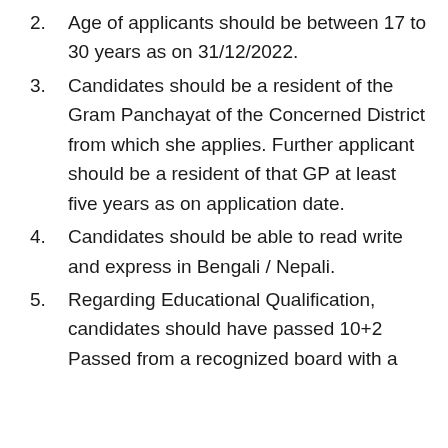2. Age of applicants should be between 17 to 30 years as on 31/12/2022.
3. Candidates should be a resident of the Gram Panchayat of the Concerned District from which she applies. Further applicant should be a resident of that GP at least five years as on application date.
4. Candidates should be able to read write and express in Bengali / Nepali.
5. Regarding Educational Qualification, candidates should have passed 10+2 Passed from a recognized board with a